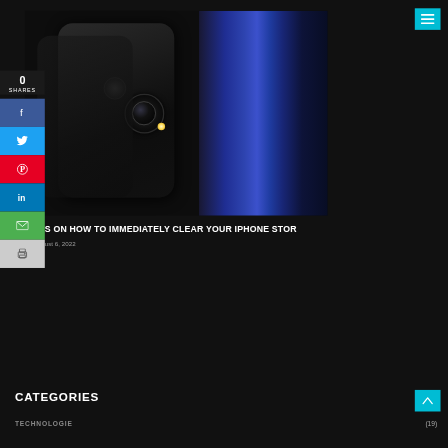[Figure (photo): Two iPhone SE phones (black) shown from the rear, against a dark background with blue and silver curved lines]
[Figure (infographic): Teal/cyan hamburger menu button in top right corner]
0
SHARES
[Figure (infographic): Social share sidebar with Facebook (blue), Twitter (cyan), Pinterest (red), LinkedIn (blue), Email (green), Print (gray) buttons]
S ON HOW TO IMMEDIATELY CLEAR YOUR IPHONE STOR
ust 6, 2022
CATEGORIES
[Figure (infographic): Teal back-to-top arrow button]
TECHNOLOGIE
(19)